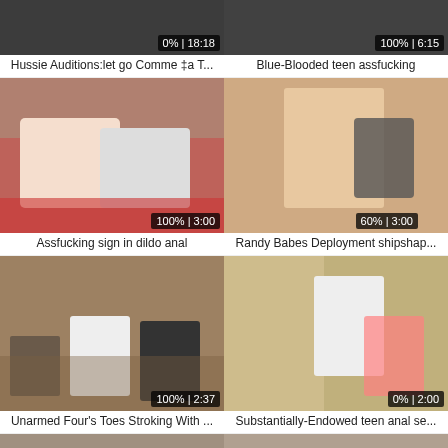[Figure (screenshot): Video thumbnail top-left, dark/blurry, badge 0% | 18:18]
Hussie Auditions:let go Comme ‡a T...
[Figure (screenshot): Video thumbnail top-right, dark/blurry, badge 100% | 6:15]
Blue-Blooded teen assfucking
[Figure (photo): Couple on bed, badge 100% | 3:00]
Assfucking sign in dildo anal
[Figure (photo): Woman with camera, badge 60% | 3:00]
Randy Babes Deployment shipshap...
[Figure (photo): Two men sitting in room, badge 100% | 2:37]
Unarmed Four's Toes Stroking With ...
[Figure (photo): Man and woman on couch, badge 0% | 2:00]
Substantially-Endowed teen anal se...